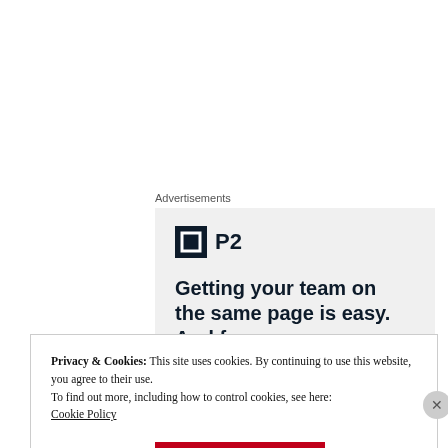Advertisements
[Figure (illustration): P2 advertisement with logo and text: Getting your team on the same page is easy. And free.]
Privacy & Cookies: This site uses cookies. By continuing to use this website, you agree to their use. To find out more, including how to control cookies, see here: Cookie Policy
Close and accept